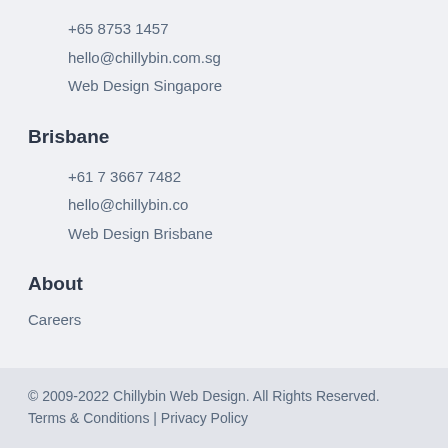+65 8753 1457
hello@chillybin.com.sg
Web Design Singapore
Brisbane
+61 7 3667 7482
hello@chillybin.co
Web Design Brisbane
About
Careers
© 2009-2022 Chillybin Web Design. All Rights Reserved. Terms & Conditions | Privacy Policy